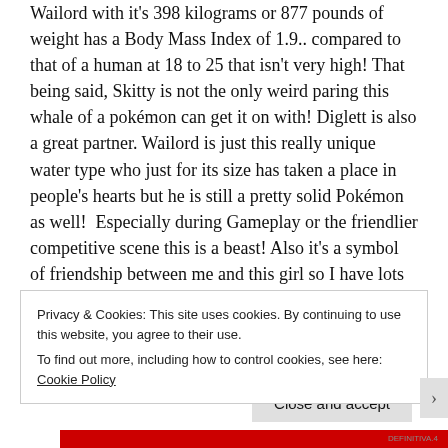Wailord with it's 398 kilograms or 877 pounds of weight has a Body Mass Index of 1.9.. compared to that of a human at 18 to 25 that isn't very high! That being said, Skitty is not the only weird paring this whale of a pokémon can get it on with! Diglett is also a great partner. Wailord is just this really unique water type who just for its size has taken a place in people's hearts but he is still a pretty solid Pokémon as well!  Especially during Gameplay or the friendlier competitive scene this is a beast! Also it's a symbol of friendship between me and this girl so I have lots of positive associations with it!
Privacy & Cookies: This site uses cookies. By continuing to use this website, you agree to their use. To find out more, including how to control cookies, see here: Cookie Policy
Close and accept